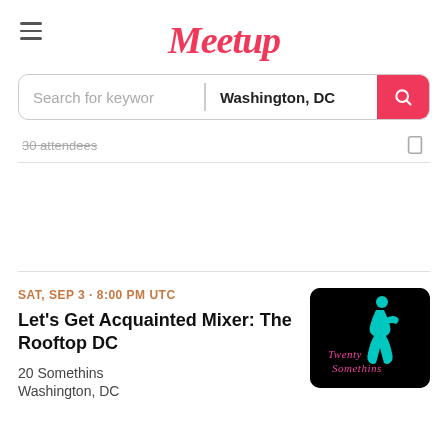Meetup
Search for keywords | Washington, DC
30 attendees
SAT, SEP 3 · 8:00 PM UTC
Let's Get Acquainted Mixer: The Rooftop DC
20 Somethins
Washington, DC
[Figure (logo): Twenty Somethins neon logo on black background with teal silhouette figure]